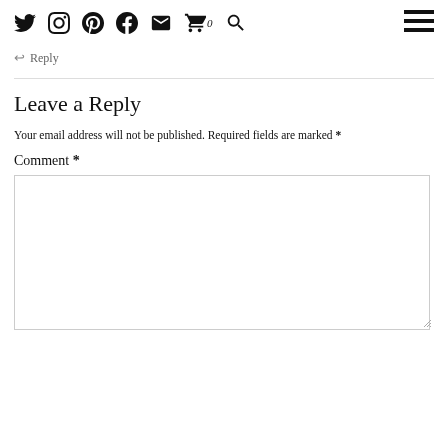Social media icons navigation bar with Twitter, Instagram, Pinterest, Facebook, Email, Cart (0), Search icons, and hamburger menu
↩ Reply
Leave a Reply
Your email address will not be published. Required fields are marked *
Comment *
[Figure (other): Empty comment text area input box]